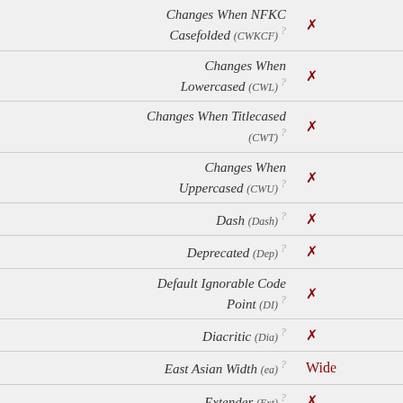| Property | Value |
| --- | --- |
| Changes When NFKC Casefolded (CWKCF) ? | ✗ |
| Changes When Lowercased (CWL) ? | ✗ |
| Changes When Titlecased (CWT) ? | ✗ |
| Changes When Uppercased (CWU) ? | ✗ |
| Dash (Dash) ? | ✗ |
| Deprecated (Dep) ? | ✗ |
| Default Ignorable Code Point (DI) ? | ✗ |
| Diacritic (Dia) ? | ✗ |
| East Asian Width (ea) ? | Wide |
| Extender (Ext) ? | ✗ |
| FC NFKC Closure (FC_NFKC) ? | 5668 器 |